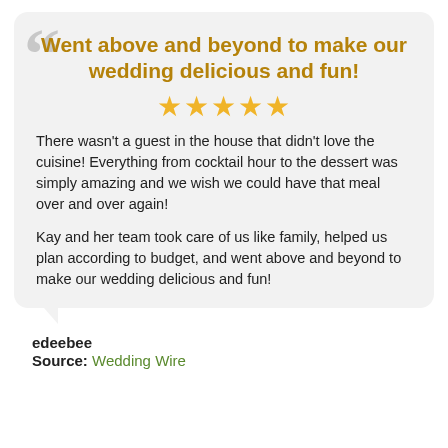Went above and beyond to make our wedding delicious and fun!
[Figure (other): Five gold/yellow star rating icons]
There wasn't a guest in the house that didn't love the cuisine! Everything from cocktail hour to the dessert was simply amazing and we wish we could have that meal over and over again!
Kay and her team took care of us like family, helped us plan according to budget, and went above and beyond to make our wedding delicious and fun!
edeebee
Source: Wedding Wire